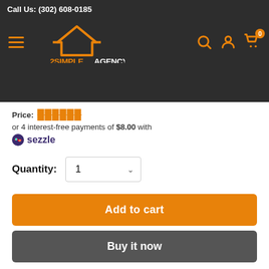Call Us: (302) 608-0185
[Figure (logo): 2SimpleAgency logo with orange house roof icon and text '2SIMPLEAGENCY WORK FROM HOME ESSENTIALS']
or 4 interest-free payments of $8.00 with sezzle
Quantity: 1
Add to cart
Buy it now
Share this product